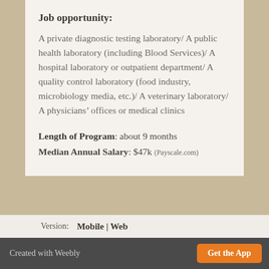Job opportunity:
A private diagnostic testing laboratory/ A public health laboratory (including Blood Services)/ A hospital laboratory or outpatient department/ A quality control laboratory (food industry, microbiology media, etc.)/ A veterinary laboratory/ A physicians’ offices or medical clinics
Length of Program: about 9 months
Median Annual Salary: $47k (Payscale.com)
Version:  Mobile |  Web
Created with Weebly  Get the App